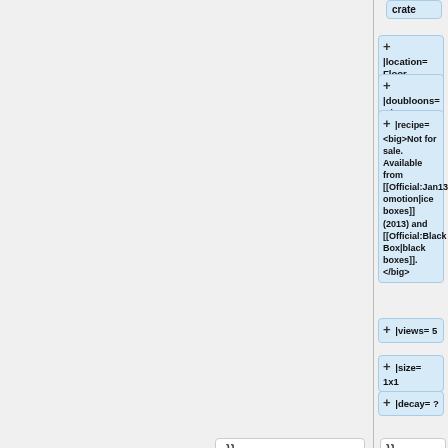crate
+ |location= Floor
+ |doubloons= N/A
+ |recipe=<big>Not for sale. Available from [[Official:Jan13_Promotion|ice boxes]] (2013) and [[Official:Black Box|black boxes]].</big>
+ |views= 5
+ |size= 1x1
+ |decay= ?
}}
}}
Line 690:
Line 986: